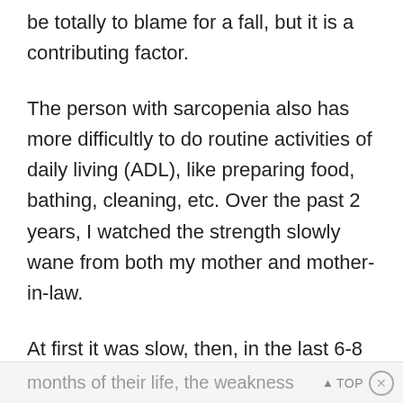be totally to blame for a fall, but it is a contributing factor.
The person with sarcopenia also has more difficultly to do routine activities of daily living (ADL), like preparing food, bathing, cleaning, etc. Over the past 2 years, I watched the strength slowly wane from both my mother and mother-in-law.
At first it was slow, then, in the last 6-8
months of their life, the weakness  ▲ TOP ×